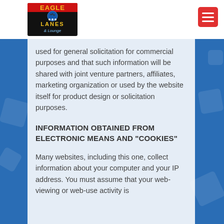[Figure (logo): Eagle Lanes & Lounge logo with bowling ball and pins]
used for general solicitation for commercial purposes and that such information will be shared with joint venture partners, affiliates, marketing organization or used by the website itself for product design or solicitation purposes.
INFORMATION OBTAINED FROM ELECTRONIC MEANS AND "COOKIES"
Many websites, including this one, collect information about your computer and your IP address. You must assume that your web-viewing or web-use activity is